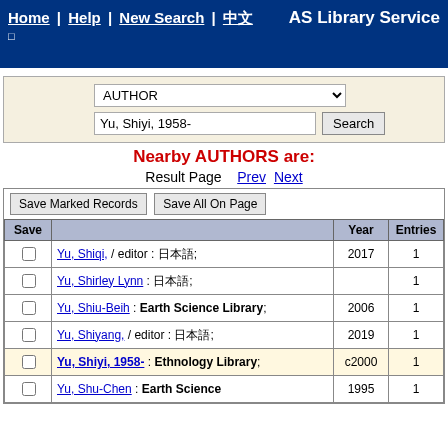Home | Help | New Search | 中文 AS Library Service
|  | AUTHOR dropdown |  |
| --- | --- | --- |
|  | Yu, Shiyi, 1958- | Search |
Nearby AUTHORS are:
Result Page  Prev Next
| Save |  | Year | Entries |
| --- | --- | --- | --- |
| ☐ | Yu, Shiqi, / editor : 日文字符; | 2017 | 1 |
| ☐ | Yu, Shirley Lynn : 日文字符; |  | 1 |
| ☐ | Yu, Shiu-Beih : Earth Science Library; | 2006 | 1 |
| ☐ | Yu, Shiyang, / editor : 日文字符; | 2019 | 1 |
| ☐ | Yu, Shiyi, 1958- : Ethnology Library; | c2000 | 1 |
| ☐ | Yu, Shu-Chen : Earth Science Library; | 1995 | 1 |